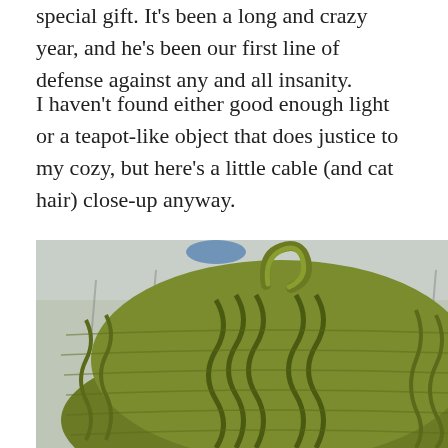special gift. It's been a long and crazy year, and he's been our first line of defense against any and all insanity.
I haven't found either good enough light or a teapot-like object that does justice to my cozy, but here's a little cable (and cat hair) close-up anyway.
[Figure (photo): Close-up photograph of a green cable-knit tea cozy with visible knit texture and a curled top, taken outdoors with bare trees visible in the background.]